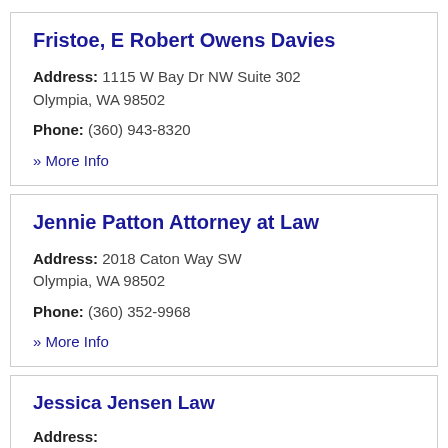Fristoe, E Robert Owens Davies
Address: 1115 W Bay Dr NW Suite 302 Olympia, WA 98502
Phone: (360) 943-8320
» More Info
Jennie Patton Attorney at Law
Address: 2018 Caton Way SW Olympia, WA 98502
Phone: (360) 352-9968
» More Info
Jessica Jensen Law
Address: